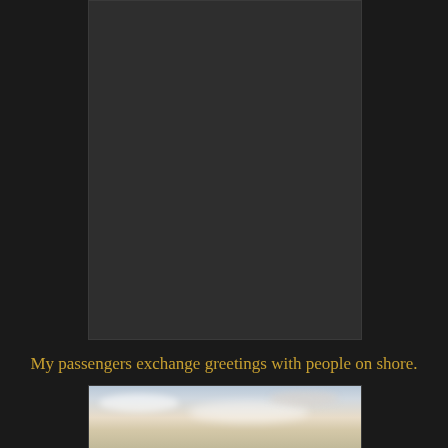[Figure (photo): A tall portrait-oriented photograph showing a dark, mostly black scene, likely passengers on a boat or ferry near a shore. The image appears very dark/underexposed.]
My passengers exchange greetings with people on shore.
[Figure (photo): A landscape photograph showing a sky with clouds at dusk or dawn, with warm golden and pale blue tones.]